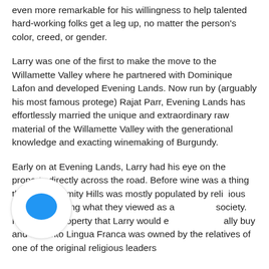even more remarkable for his willingness to help talented hard-working folks get a leg up, no matter the person's color, creed, or gender.
Larry was one of the first to make the move to the Willamette Valley where he partnered with Dominique Lafon and developed Evening Lands. Now run by (arguably his most famous protege) Rajat Parr, Evening Lands has effortlessly married the unique and extraordinary raw material of the Willamette Valley with the generational knowledge and exacting winemaking of Burgundy.
Early on at Evening Lands, Larry had his eye on the property directly across the road. Before wine was a thing there, Eola-Amity Hills was mostly populated by religious groups escaping what they viewed as a society. In fact, the property that Larry would eventually buy and turn into Lingua Franca was owned by the relatives of one of the original religious leaders
[Figure (illustration): Blue speech/chat bubble icon overlaid on the text, partially obscuring some words in the third paragraph.]